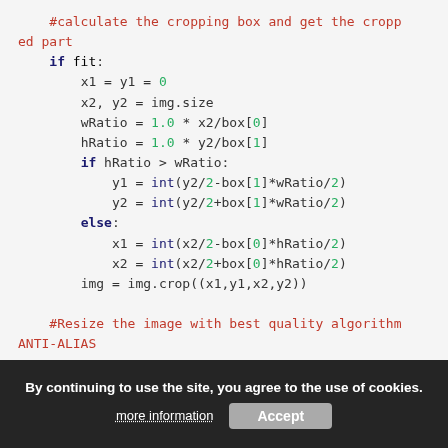Python code snippet showing image cropping and resizing logic with syntax highlighting
Cookie consent banner: 'By continuing to use the site, you agree to the use of cookies.' with 'more information' and 'Accept' buttons